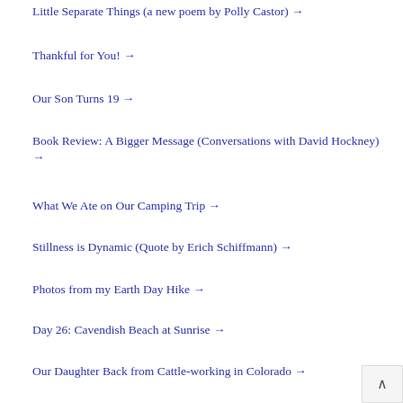Little Separate Things (a new poem by Polly Castor) →
Thankful for You! →
Our Son Turns 19 →
Book Review: A Bigger Message (Conversations with David Hockney) →
What We Ate on Our Camping Trip →
Stillness is Dynamic (Quote by Erich Schiffmann) →
Photos from my Earth Day Hike →
Day 26: Cavendish Beach at Sunrise →
Our Daughter Back from Cattle-working in Colorado →